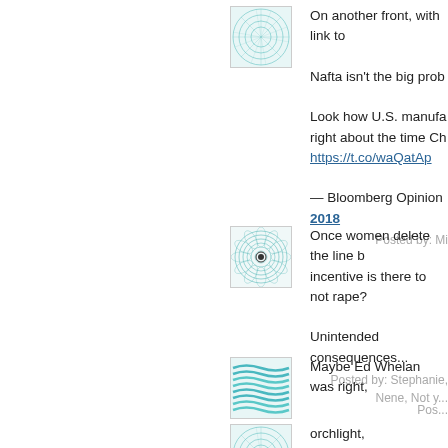[Figure (illustration): Teal fractal/star pattern avatar icon]
On another front, with link to... Nafta isn't the big prob... Look how U.S. manufactu... right about the time Ch... https://t.co/waQatAp... — Bloomberg Opinion... 2018
Posted by: Miss Ma...
[Figure (illustration): Circular spiral/spirograph pattern avatar icon with center dot]
Once women delete the line b... incentive is there to not rape?... Unintended consequences...
Posted by: Stephanie, Nene, Not y...
[Figure (illustration): Teal wavy lines pattern avatar icon]
Maybe Ed Whelan was right,
Pos...
[Figure (illustration): Teal fractal/star pattern avatar icon]
orchlight,